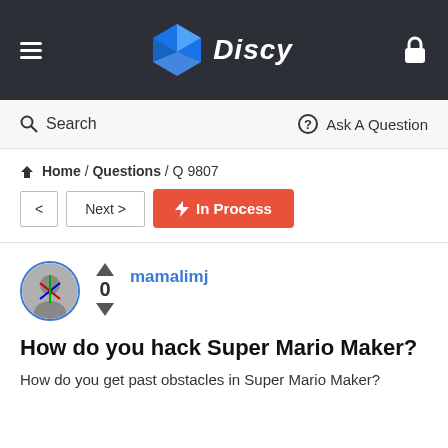Discy
Search | Ask A Question
Home / Questions / Q 9807
< | Next > | In Process
mamalimj
How do you hack Super Mario Maker?
How do you get past obstacles in Super Mario Maker?